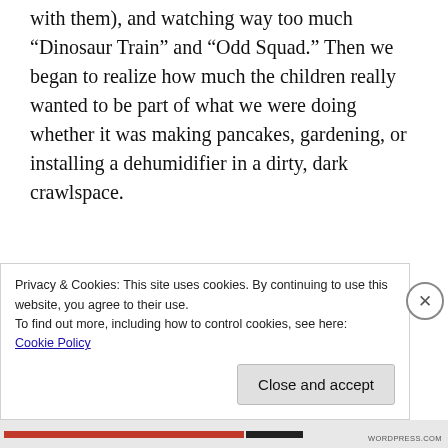with them), and watching way too much “Dinosaur Train” and “Odd Squad.” Then we began to realize how much the children really wanted to be part of what we were doing whether it was making pancakes, gardening, or installing a dehumidifier in a dirty, dark crawlspace.
The oldest who has trouble sitting still for even five minutes held a flashlight and/or retrieved tools for every job, meanwhile my husband made
Privacy & Cookies: This site uses cookies. By continuing to use this website, you agree to their use.
To find out more, including how to control cookies, see here:
Cookie Policy
Close and accept